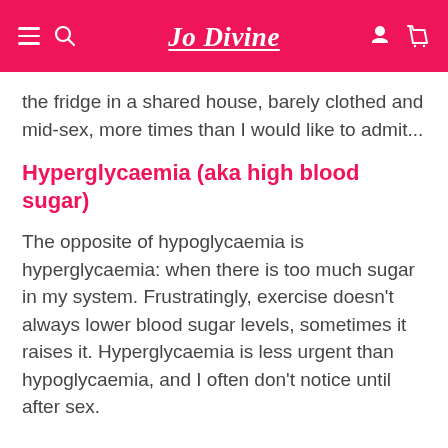Jo Divine
the fridge in a shared house, barely clothed and mid-sex, more times than I would like to admit...
Hyperglycaemia (aka high blood sugar)
The opposite of hypoglycaemia is hyperglycaemia: when there is too much sugar in my system. Frustratingly, exercise doesn't always lower blood sugar levels, sometimes it raises it. Hyperglycaemia is less urgent than hypoglycaemia, and I often don't notice until after sex.